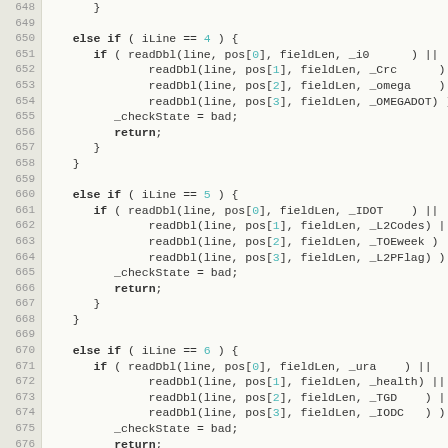[Figure (screenshot): Source code listing showing lines 648-677 of a C++ or similar file. Code handles parsing of GPS navigation data fields using readDbl function calls for iLine values 4, 5, and 6.]